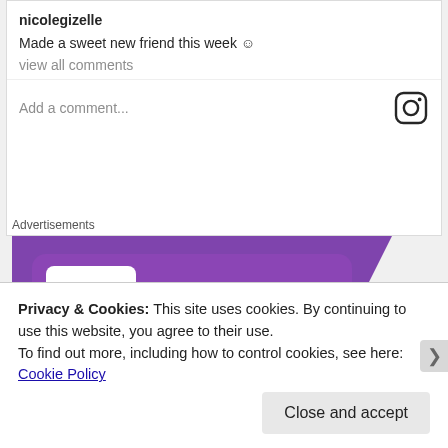nicolegizelle
Made a sweet new friend this week 😊
view all comments
Add a comment...
Advertisements
[Figure (logo): WooCommerce advertisement banner with purple background and white WooCommerce logo with speech bubble icon, teal and blue geometric shapes in corner]
Privacy & Cookies: This site uses cookies. By continuing to use this website, you agree to their use.
To find out more, including how to control cookies, see here: Cookie Policy
Close and accept